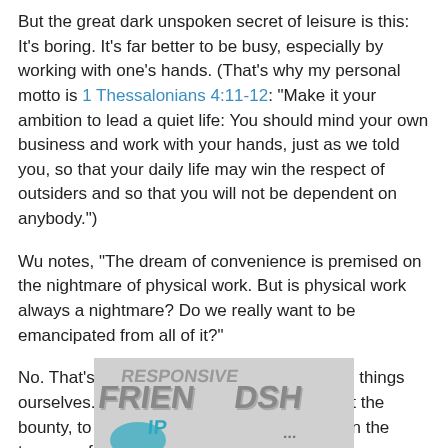But the great dark unspoken secret of leisure is this: It's boring. It's far better to be busy, especially by working with one's hands. (That's why my personal motto is 1 Thessalonians 4:11-12: "Make it your ambition to lead a quiet life: You should mind your own business and work with your hands, just as we told you, so that your daily life may win the respect of outsiders and so that you will not be dependent on anybody.")
Wu notes, "The dream of convenience is premised on the nightmare of physical work. But is physical work always a nightmare? Do we really want to be emancipated from all of it?"
No. That's why we stubbornly continue doing things ourselves. We will continue to mutiny against the bounty, to question what's "normal," and shun the tyranny of convenience.
[Figure (illustration): Partial image of a word cloud or 3D text graphic showing the words 'FRIENDSHIP' and other text in stylized 3D letters with teal/blue and gray tones, cropped at the bottom of the page.]